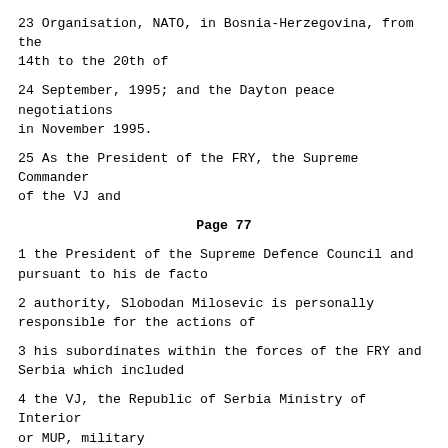23 Organisation, NATO, in Bosnia-Herzegovina, from the 14th to the 20th of
24 September, 1995; and the Dayton peace negotiations in November 1995.
25 As the President of the FRY, the Supreme Commander of the VJ and
Page  77
1 the President of the Supreme Defence Council and pursuant to his de facto
2 authority, Slobodan Milosevic is personally responsible for the actions of
3 his subordinates within the forces of the FRY and Serbia which included
4 the VJ, the Republic of Serbia Ministry of Interior or MUP, military
5 Territorial Units, Civil Defence Units and other armed groups operating
6 under the authority or with the knowledge of the eight accused and their
7 subordinates who committed the crimes alleged in Counts 1 to 5 of this